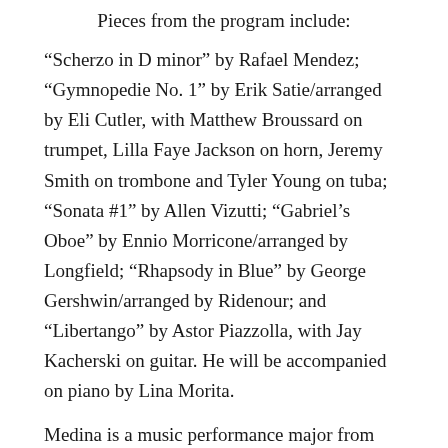Pieces from the program include:
“Scherzo in D minor” by Rafael Mendez; “Gymnopedie No. 1” by Erik Satie/arranged by Eli Cutler, with Matthew Broussard on trumpet, Lilla Faye Jackson on horn, Jeremy Smith on trombone and Tyler Young on tuba; “Sonata #1” by Allen Vizutti; “Gabriel’s Oboe” by Ennio Morricone/arranged by Longfield; “Rhapsody in Blue” by George Gershwin/arranged by Ridenour; and “Libertango” by Astor Piazzolla, with Jay Kacherski on guitar. He will be accompanied on piano by Lina Morita.
Medina is a music performance major from Houston, Texas. At McNeese, he is principal trumpet with the wind symphony and jazz band, a member of the Pride of McNeese Marching Band and symphonic band. He has been a two-time member of the